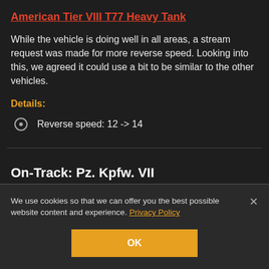American Tier VIII T77 Heavy Tank
While the vehicle is doing well in all areas, a stream request was made for more reverse speed. Looking into this, we agreed it could use a bit to be similar to the other vehicles.
Details:
Reverse speed: 12 -> 14
On-Track: Pz. Kpfw. VII
We use cookies so that we can offer you the best possible website content and experience. Privacy Policy
OK